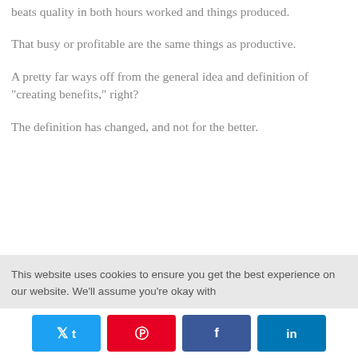beats quality in both hours worked and things produced.
That busy or profitable are the same things as productive.
A pretty far ways off from the general idea and definition of "creating benefits," right?
The definition has changed, and not for the better.
This website uses cookies to ensure you get the best experience on our website. We'll assume you're okay with
Twitter Pinterest Facebook LinkedIn social share buttons